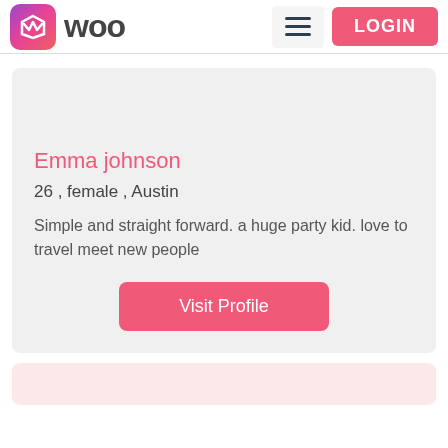WOO — hamburger menu — LOGIN
Emma johnson
26 , female , Austin
Simple and straight forward. a huge party kid. love to travel meet new people
Visit Profile